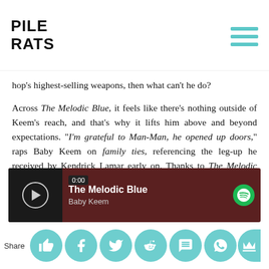Pile Rats
hop's highest-selling weapons, then what can't he do?
Across The Melodic Blue, it feels like there's nothing outside of Keem's reach, and that's why it lifts him above and beyond expectations. "I'm grateful to Man-Man, he opened up doors," raps Baby Keem on family ties, referencing the leg-up he received by Kendrick Lamar early on. Thanks to The Melodic Blue, those doors are well and truly open. Now, the question only is how far beyond those doors will Baby Keem's future take him.
Listen to the album below:
[Figure (screenshot): Spotify embedded player showing 'The Melodic Blue' by Baby Keem with play button, dark brown background, and Spotify logo]
[Figure (infographic): Social sharing bar with Share label and circular buttons for like, Facebook, Twitter, Reddit, SMS, WhatsApp, and crown icon]